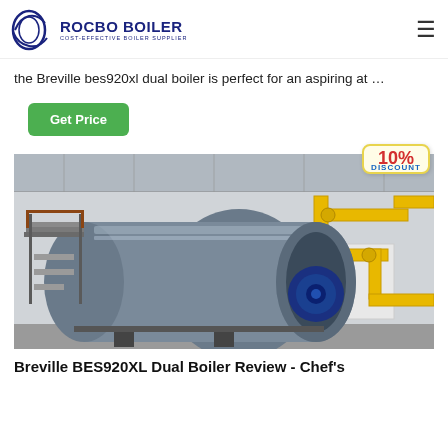ROCBO BOILER - COST-EFFECTIVE BOILER SUPPLIER
the Breville bes920xl dual boiler is perfect for an aspiring at …
Get Price
[Figure (photo): Industrial horizontal fire-tube boiler in a factory setting with yellow gas pipes; 10% DISCOUNT badge overlaid in top-right corner]
Breville BES920XL Dual Boiler Review - Chef's